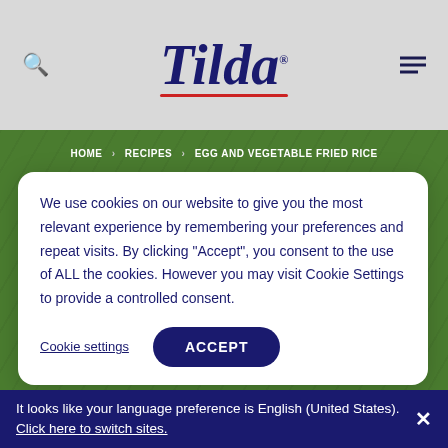Tilda
HOME > RECIPES > EGG AND VEGETABLE FRIED RICE
We use cookies on our website to give you the most relevant experience by remembering your preferences and repeat visits. By clicking "Accept", you consent to the use of ALL the cookies. However you may visit Cookie Settings to provide a controlled consent.
Cookie settings   ACCEPT
It looks like your language preference is English (United States). Click here to switch sites.